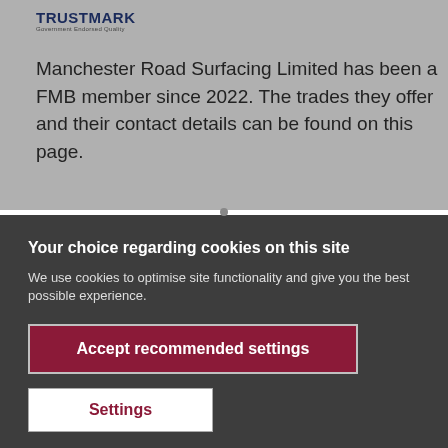[Figure (logo): TrustMark Government Endorsed Quality logo]
Manchester Road Surfacing Limited has been a FMB member since 2022. The trades they offer and their contact details can be found on this page.
Your choice regarding cookies on this site
We use cookies to optimise site functionality and give you the best possible experience.
Accept recommended settings
Settings